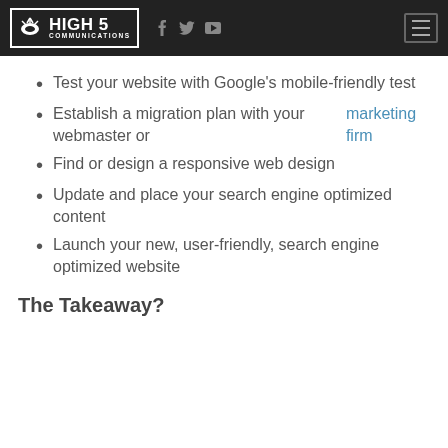HIGH 5 COMMUNICATIONS
Test your website with Google's mobile-friendly test
Establish a migration plan with your webmaster or marketing firm
Find or design a responsive web design
Update and place your search engine optimized content
Launch your new, user-friendly, search engine optimized website
The Takeaway?